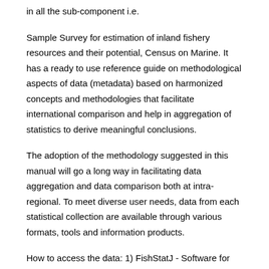in all the sub-component i.e.
Sample Survey for estimation of inland fishery resources and their potential, Census on Marine. It has a ready to use reference guide on methodological aspects of data (metadata) based on harmonized concepts and methodologies that facilitate international comparison and help in aggregation of statistics to derive meaningful conclusions.
The adoption of the methodology suggested in this manual will go a long way in facilitating data aggregation and data comparison both at intra-regional. To meet diverse user needs, data from each statistical collection are available through various formats, tools and information products.
How to access the data: 1) FishStatJ - Software for fishery statistical time series offers experts and scientists a stand-alone application for complex and sophisticated data exploration and extraction.
The diversified fisheries resources of the country are divided into three groups, i.e., inland capture, inland culture and marine capture. Inland culture includes mainly pond/ditch, baor, shrimp/prawn farm, seasonal